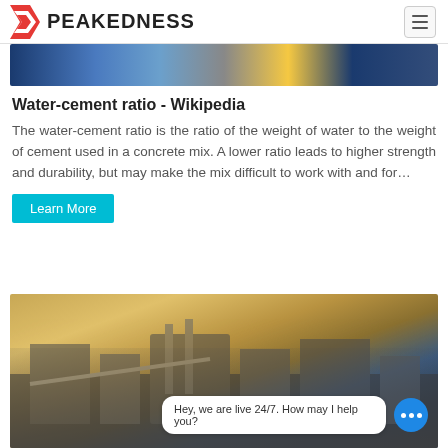PEAKEDNESS
[Figure (photo): Industrial machinery/plant facility photo strip at top]
Water-cement ratio - Wikipedia
The water-cement ratio is the ratio of the weight of water to the weight of cement used in a concrete mix. A lower ratio leads to higher strength and durability, but may make the mix difficult to work with and for…
Learn More
[Figure (photo): Outdoor quarry/mining scene with mountains and heavy machinery, with a live chat overlay bubble saying 'Hey, we are live 24/7. How may I help you?']